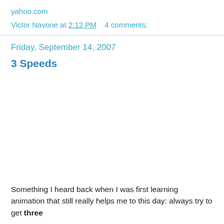yahoo.com
Victor Navone at 2:12 PM    4 comments:
Friday, September 14, 2007
3 Speeds
Something I heard back when I was first learning animation that still really helps me to this day: always try to get three